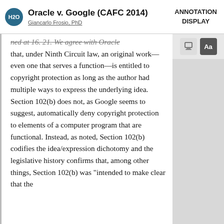Oracle v. Google (CAFC 2014) — Giancarlo Frosio, PhD — ANNOTATION DISPLAY
ned at 16. 21. We agree with Oracle that, under Ninth Circuit law, an original work—even one that serves a function—is entitled to copyright protection as long as the author had multiple ways to express the underlying idea. Section 102(b) does not, as Google seems to suggest, automatically deny copyright protection to elements of a computer program that are functional. Instead, as noted, Section 102(b) codifies the idea/expression dichotomy and the legislative history confirms that, among other things, Section 102(b) was "intended to make clear that the